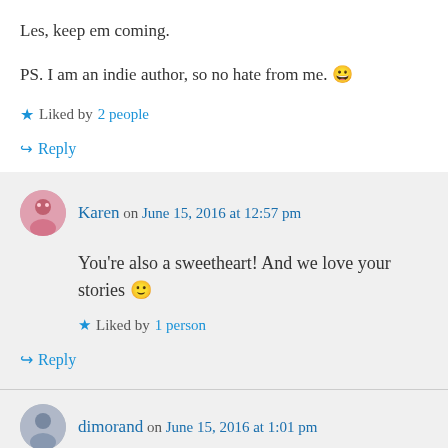Les, keep em coming.
PS. I am an indie author, so no hate from me. 😀
★ Liked by 2 people
↪ Reply
Karen on June 15, 2016 at 12:57 pm
You're also a sweetheart! And we love your stories 🙂
★ Liked by 1 person
↪ Reply
dimorand on June 15, 2016 at 1:01 pm